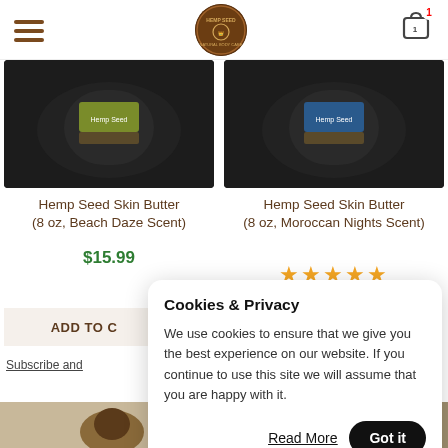[Figure (screenshot): Website header with hamburger menu icon on left, Hemp Seed Natural Body Care circular logo in center, shopping cart icon with badge '1' on right]
[Figure (photo): Hemp Seed Skin Butter product container (8 oz, Beach Daze Scent) — dark colored tub with yellow/green label]
Hemp Seed Skin Butter (8 oz, Beach Daze Scent)
$15.99
[Figure (photo): Hemp Seed Skin Butter product container (8 oz, Moroccan Nights Scent) — dark colored tub with blue label]
Hemp Seed Skin Butter (8 oz, Moroccan Nights Scent)
[Figure (other): 5 gold star rating]
ADD TO C
Subscribe and
Cookies & Privacy
We use cookies to ensure that we give you the best experience on our website. If you continue to use this site we will assume that you are happy with it.
Read More
Got it